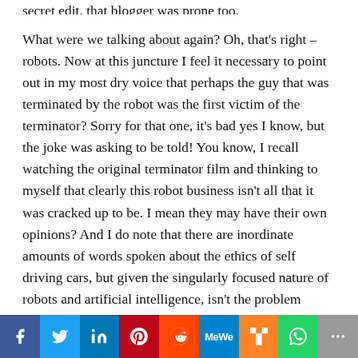secret edit, that blogger was prone too. What were we talking about again? Oh, that's right – robots. Now at this juncture I feel it necessary to point out in my most dry voice that perhaps the guy that was terminated by the robot was the first victim of the terminator? Sorry for that one, it's bad yes I know, but the joke was asking to be told! You know, I recall watching the original terminator film and thinking to myself that clearly this robot business isn't all that it was cracked up to be. I mean they may have their own opinions? And I do note that there are inordinate amounts of words spoken about the ethics of self driving cars, but given the singularly focused nature of robots and artificial intelligence, isn't the problem really that we are perhaps coming to terms with enabling a psychopathic entity?
Social share bar: Facebook, Twitter, LinkedIn, Pinterest, Reddit, MeWe, Mix, WhatsApp, More